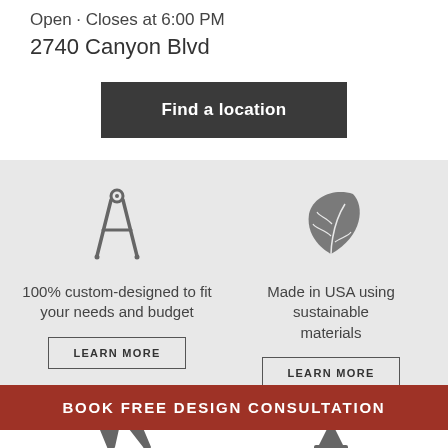Open · Closes at 6:00 PM
2740 Canyon Blvd
Find a location
[Figure (illustration): Compass/drafting tool icon in gray]
100% custom-designed to fit your needs and budget
LEARN MORE
[Figure (illustration): Leaf/eco icon in gray]
Made in USA using sustainable materials
LEARN MORE
[Figure (illustration): Wrench/tools icon in gray (partially visible)]
[Figure (illustration): Hourglass/timer icon in gray (partially visible)]
BOOK FREE DESIGN CONSULTATION